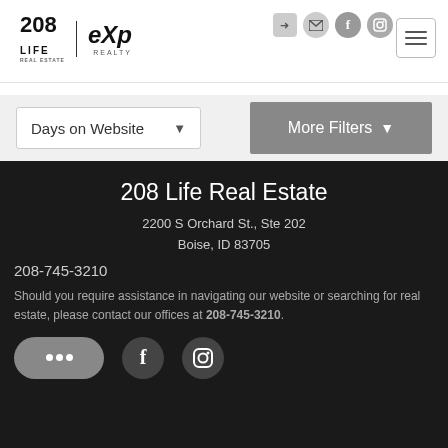[Figure (logo): 208 Life Real Estate eXp Realty logo with navigation icons and hamburger menu]
Days on Website
More Filters
208 Life Real Estate
2200 S Orchard St., Ste 202
Boise, ID 83705
208-745-3210
Should you require assistance in navigating our website or searching for real estate, please contact our offices at 208-745-3210.
[Figure (infographic): Chat bubble icon, Facebook icon, Instagram icon social media buttons]